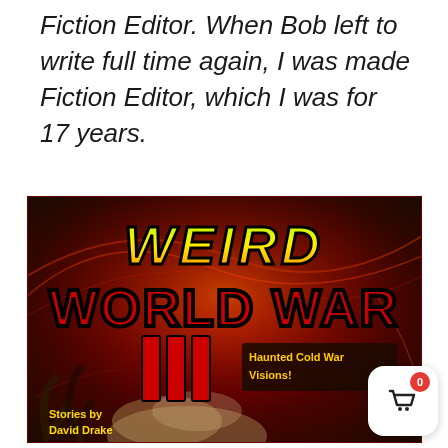Fiction Editor. When Bob left to write full time again, I was made Fiction Editor, which I was for 17 years.
[Figure (illustration): Book cover for 'Weird World War III: Haunted Cold War Visions!' — dramatic sci-fi/horror anthology cover with swirling red and dark cosmic background, large stylized text reading WEIRD in yellow-green gradient, WORLD WAR in bold red with black outline, III in red bars, subtitle 'Haunted Cold War Visions!' in yellow on dark panel, 'Stories by David Drake' at bottom left in bold yellow text.]